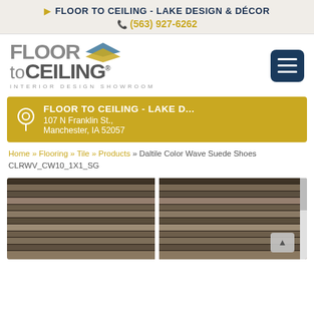FLOOR TO CEILING - LAKE DESIGN & DÉCOR
(563) 927-6262
[Figure (logo): Floor to Ceiling Interior Design Showroom logo with diamond/layered shape graphic and hamburger menu button]
FLOOR TO CEILING - LAKE D...
107 N Franklin St.,
Manchester, IA 52057
Home » Flooring » Tile » Products » Daltile Color Wave Suede Shoes CLRWV_CW10_1X1_SG
[Figure (photo): Two panels of tile samples showing Daltile Color Wave Suede Shoes tile in horizontal rows with varying shades of brown/taupe]